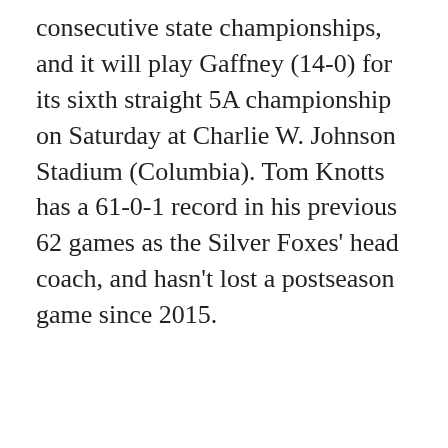consecutive state championships, and it will play Gaffney (14-0) for its sixth straight 5A championship on Saturday at Charlie W. Johnson Stadium (Columbia). Tom Knotts has a 61-0-1 record in his previous 62 games as the Silver Foxes' head coach, and hasn't lost a postseason game since 2015.